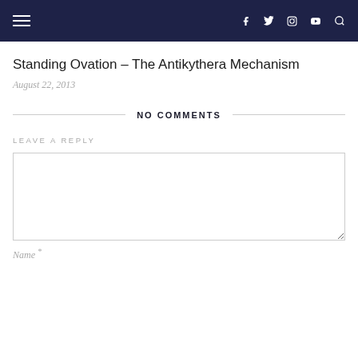Navigation header with hamburger menu and social icons: f, twitter, instagram, youtube, search
Standing Ovation – The Antikythera Mechanism
August 22, 2013
NO COMMENTS
LEAVE A REPLY
Name *